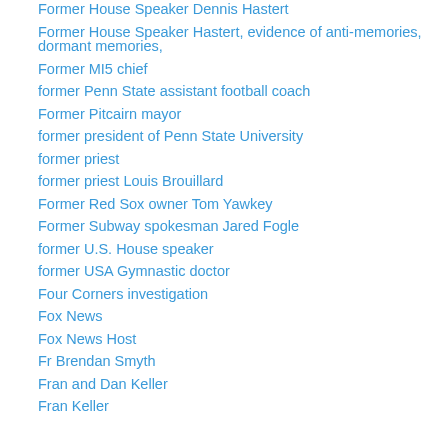Former House Speaker Dennis Hastert
Former House Speaker Hastert, evidence of anti-memories, dormant memories,
Former MI5 chief
former Penn State assistant football coach
Former Pitcairn mayor
former president of Penn State University
former priest
former priest Louis Brouillard
Former Red Sox owner Tom Yawkey
Former Subway spokesman Jared Fogle
former U.S. House speaker
former USA Gymnastic doctor
Four Corners investigation
Fox News
Fox News Host
Fr Brendan Smyth
Fran and Dan Keller
Fran Keller
Frank Ryan S...